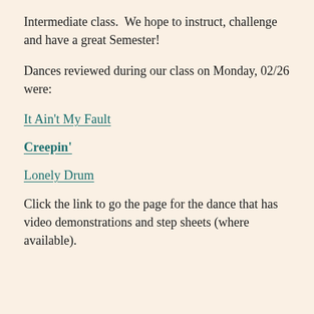Intermediate class.  We hope to instruct, challenge and have a great Semester!
Dances reviewed during our class on Monday, 02/26 were:
It Ain't My Fault
Creepin'
Lonely Drum
Click the link to go the page for the dance that has video demonstrations and step sheets (where available).